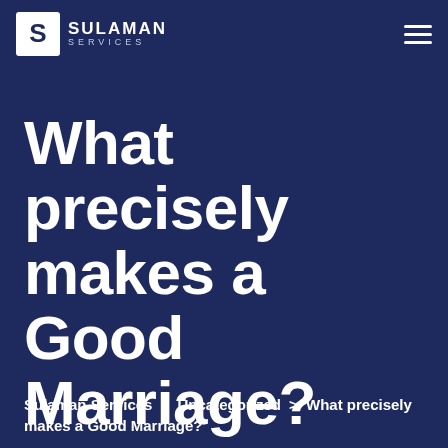SULAMAN SERVICES
What precisely makes a Good Marriage?
Sulaman Services > Uncategorized > What precisely makes a Good Marriage?